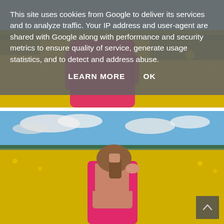[Figure (photo): Top portion of a photo showing a person in a pink dress standing in a yellow flowering field (rapeseed/canola), cropped at torso level]
This site uses cookies from Google to deliver its services and to analyze traffic. Your IP address and user-agent are shared with Google along with performance and security metrics to ensure quality of service, generate usage statistics, and to detect and address abuse.
LEARN MORE    OK
[Figure (photo): Photo of a woman with brown hair seen from behind, wearing a pink backless dress, standing in a large yellow rapeseed/canola field under a blue sky with white clouds]